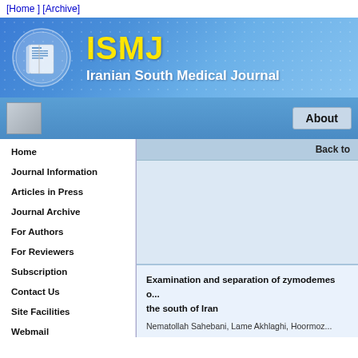[Home ] [Archive]
[Figure (logo): ISMJ Iranian South Medical Journal logo banner with blue gradient background and journal emblem]
About
Home
Journal Information
Articles in Press
Journal Archive
For Authors
For Reviewers
Subscription
Contact Us
Site Facilities
Webmail
Back to
Examination and separation of zymodemes o... the south of Iran
Nematollah Sahebani, Lame Akhlaghi, Hoormoz...